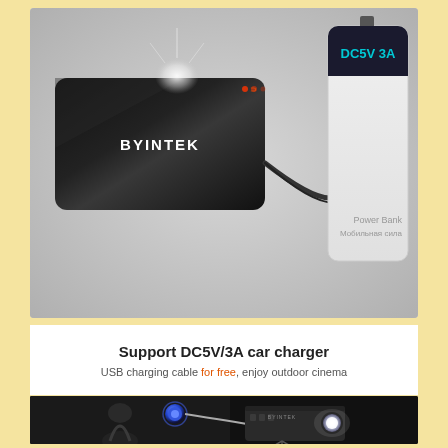[Figure (photo): BYINTEK projector (black, flat device) connected via USB cable to a white power bank displaying 'DC5V 3A' on its screen. Labeled 'Power Bank / Мобильная сила'. Both sit on a gray surface.]
Support DC5V/3A car charger
USB charging cable for free, enjoy outdoor cinema
[Figure (photo): Car interior showing gear shift and a glowing blue USB car charger port connected via cable to a small BYINTEK projector with illuminated lens on a tripod.]